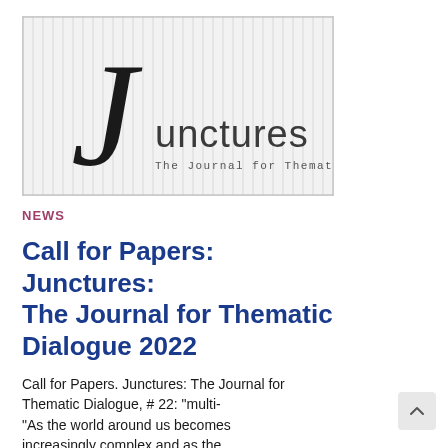[Figure (logo): Junctures: The Journal for Thematic Dialogue logo — stylized italic J with striped background and subtitle text]
NEWS
Call for Papers: Junctures: The Journal for Thematic Dialogue 2022
Call for Papers. Junctures: The Journal for Thematic Dialogue, # 22: "multi- "As the world around us becomes increasingly complex and as the tensions between too